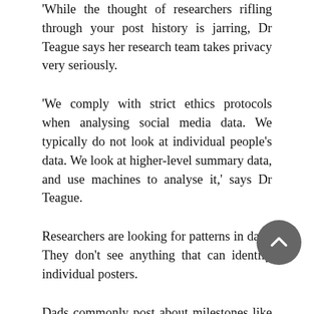'While the thought of researchers rifling through your post history is jarring, Dr Teague says her research team takes privacy very seriously.
'We comply with strict ethics protocols when analysing social media data. We typically do not look at individual people's data. We look at higher-level summary data, and use machines to analyse it,' says Dr Teague.
Researchers are looking for patterns in data. They don't see anything that can identify individual posters.
Dads commonly post about milestones like pregnancy announcements and activities like paternal bonding, Dr Teague found. But the topic with most users and posts was fatherhood challenges: struggles, budgeting and sleep.
'We were looking at the content of the responses that